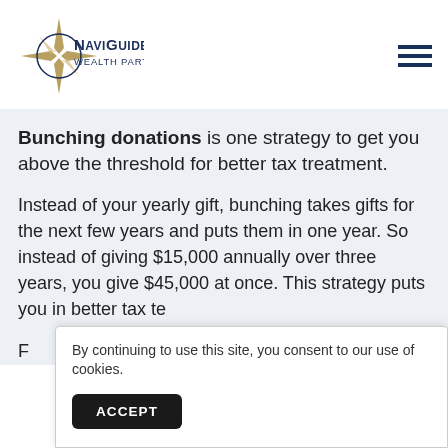[Figure (logo): NaviGuide Wealth Partners, Inc. logo with compass star and circular emblem]
Bunching donations is one strategy to get you above the threshold for better tax treatment.
Instead of your yearly gift, bunching takes gifts for the next few years and puts them in one year. So instead of giving $15,000 annually over three years, you give $45,000 at once. This strategy puts you in better tax te
By continuing to use this site, you consent to our use of cookies.
ACCEPT